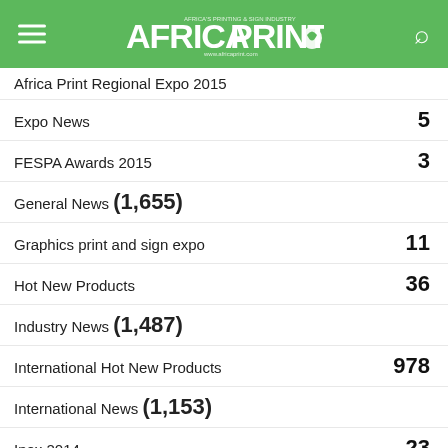Africa Print — www.africaprint.com
Africa Print Regional Expo 2015
Expo News  5
FESPA Awards 2015  3
General News (1,655)
Graphics print and sign expo  11
Hot New Products  36
Industry News (1,487)
International Hot New Products  978
International News (1,153)
Ipex 2014  23
Local News (3,938)
Sponsored feature  1